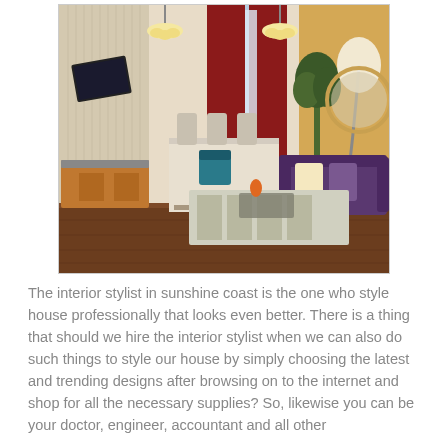[Figure (photo): Interior design rendering of a living/dining room with purple sofa, dining table and chairs, decorative chandelier, red roman shade curtains, hardwood floors, and a floor lamp with a round mirror.]
The interior stylist in sunshine coast is the one who style house professionally that looks even better. There is a thing that should we hire the interior stylist when we can also do such things to style our house by simply choosing the latest and trending designs after browsing on to the internet and shop for all the necessary supplies? So, likewise you can be your doctor, engineer, accountant and all other